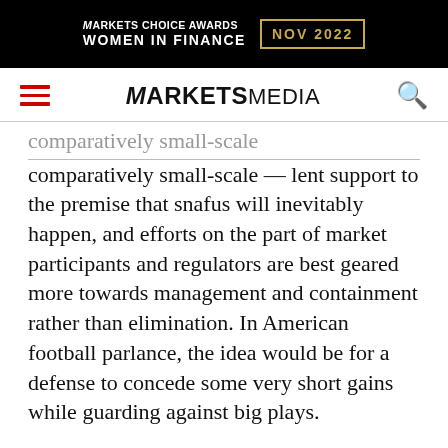[Figure (other): Markets Choice Awards Women in Finance NOV 2022 banner advertisement on black background with gold border]
ARKETS MEDIA (nav bar with hamburger menu and search icon)
comparatively small-scale — lent support to the premise that snafus will inevitably happen, and efforts on the part of market participants and regulators are best geared more towards management and containment rather than elimination. In American football parlance, the idea would be for a defense to concede some very short gains while guarding against big plays.
For buy-side investment managers